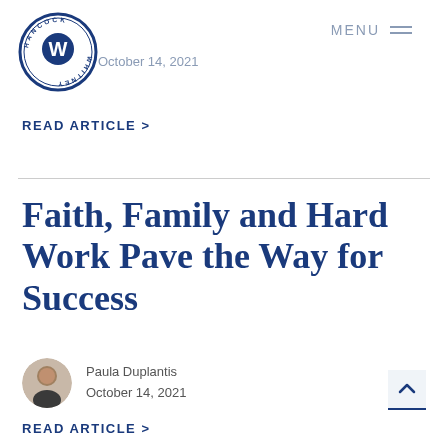[Figure (logo): Hancock Whitney circular logo with blue border and stylized W in center]
October 14, 2021
MENU
READ ARTICLE >
Faith, Family and Hard Work Pave the Way for Success
Paula Duplantis
October 14, 2021
READ ARTICLE >